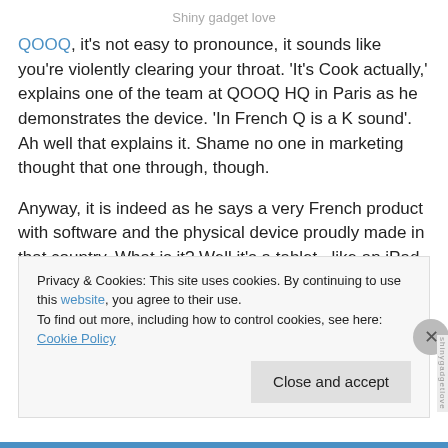Shiny gadget love
QOOQ, it's not easy to pronounce, it sounds like you're violently clearing your throat. 'It's Cook actually,' explains one of the team at QOOQ HQ in Paris as he demonstrates the device. 'In French Q is a K sound'.  Ah well that explains it. Shame no one in marketing thought that one through, though.
Anyway, it is indeed as he says a very French product with software and the physical device proudly made in that country. What is it? Well it's a tablet, like an iPad or
Privacy & Cookies: This site uses cookies. By continuing to use this website, you agree to their use.
To find out more, including how to control cookies, see here: Cookie Policy
Close and accept